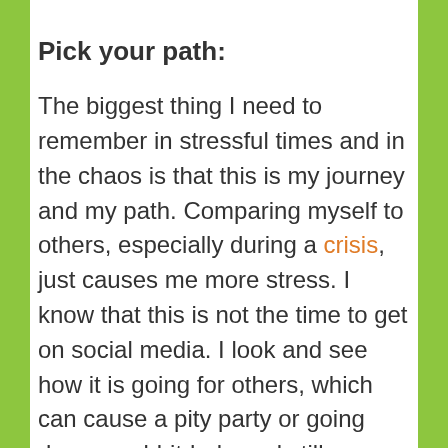Pick your path:
The biggest thing I need to remember in stressful times and in the chaos is that this is my journey and my path. Comparing myself to others, especially during a crisis, just causes me more stress. I know that this is not the time to get on social media. I look and see how it is going for others, which can cause a pity party or going down a rabbit-hole and still my stress is there. During this hectic time, I choose to